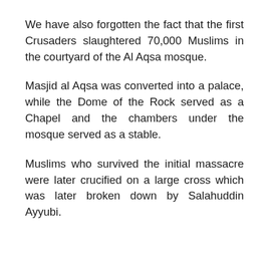We have also forgotten the fact that the first Crusaders slaughtered 70,000 Muslims in the courtyard of the Al Aqsa mosque.
Masjid al Aqsa was converted into a palace, while the Dome of the Rock served as a Chapel and the chambers under the mosque served as a stable.
Muslims who survived the initial massacre were later crucified on a large cross which was later broken down by Salahuddin Ayyubi.